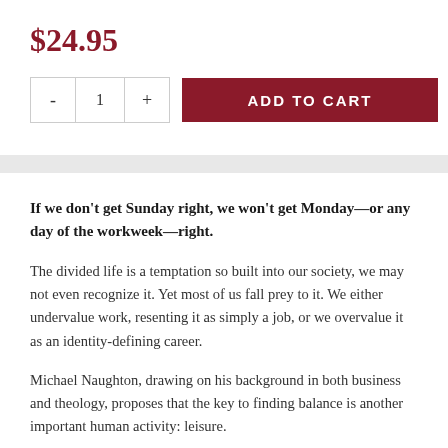$24.95
[Figure (other): Add to cart UI with quantity selector (minus, 1, plus) and dark red ADD TO CART button]
If we don’t get Sunday right, we won’t get Monday—or any day of the workweek—right.
The divided life is a temptation so built into our society, we may not even recognize it. Yet most of us fall prey to it. We either undervalue work, resenting it as simply a job, or we overvalue it as an identity-defining career.
Michael Naughton, drawing on his background in both business and theology, proposes that the key to finding balance is another important human activity: leisure.